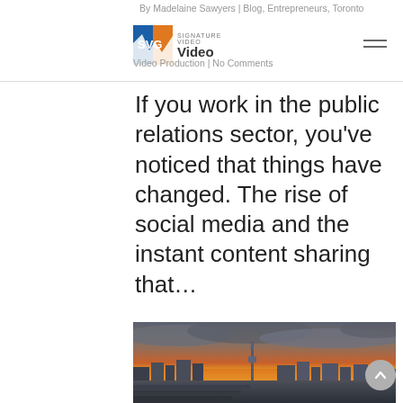By Madelaine Sawyers | Blog, Entrepreneurs, Toronto Video Production | No Comments
If you work in the public relations sector, you've noticed that things have changed. The rise of social media and the instant content sharing that…
[Figure (photo): HDR photograph of the Toronto skyline at sunset, featuring the CN Tower, dramatic storm clouds, and warm orange and yellow light on the horizon. In the foreground are tiered concrete steps/plaza.]